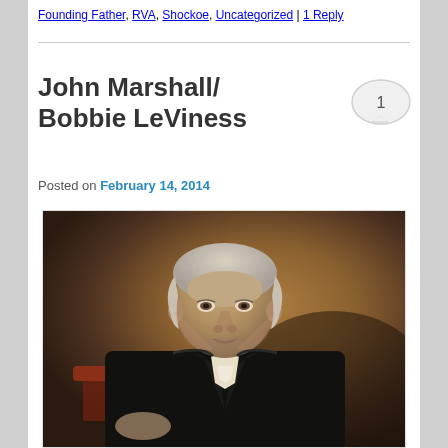Founding Father, RVA, Shockoe, Uncategorized | 1 Reply
John Marshall/ Bobbie LeViness
Posted on February 14, 2014
[Figure (photo): Portrait painting of John Marshall, an elderly man with gray hair wearing a dark judicial robe and white cravat, seated, against a brown/dark background. A red chair is visible. This appears to be a classical oil portrait.]